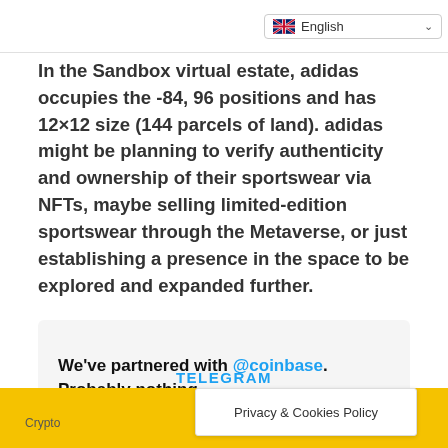English
In the Sandbox virtual estate, adidas occupies the -84, 96 positions and has 12×12 size (144 parcels of land). adidas might be planning to verify authenticity and ownership of their sportswear via NFTs, maybe selling limited-edition sportswear through the Metaverse, or just establishing a presence in the space to be explored and expanded further.
We've partnered with @coinbase. Probably nothing.
TELEGRAM  Crypto  Privacy & Cookies Policy